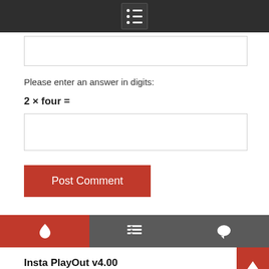Navigation menu icon
Please enter an answer in digits:
Post Comment
[Figure (screenshot): Bottom navigation bar with three tabs: fire icon (red/active), list icon (gray), comment icon (gray)]
Insta PlayOut v4.00
January 9, 2019